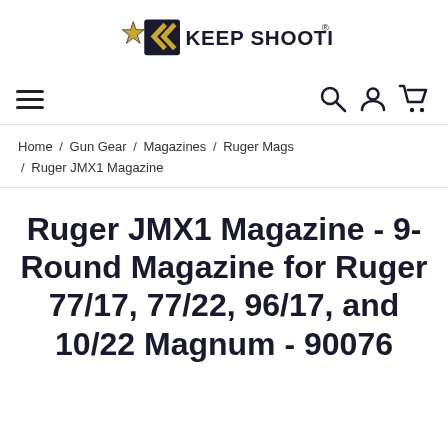[Figure (logo): Keep Shooting logo with star and chevron arrows icon in gold/black and bold text KEEP SHOOTING with registered trademark symbol]
≡  🔍 👤 🛒
Home / Gun Gear / Magazines / Ruger Mags / Ruger JMX1 Magazine
Ruger JMX1 Magazine - 9-Round Magazine for Ruger 77/17, 77/22, 96/17, and 10/22 Magnum - 90076